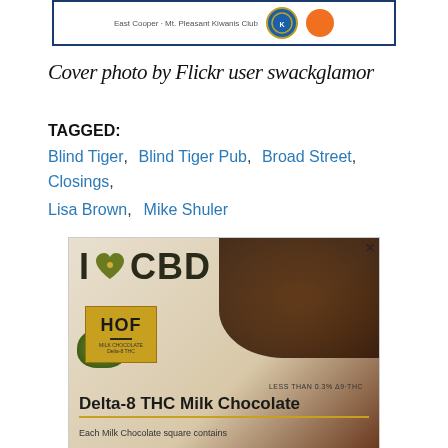[Figure (other): East Cooper - Mt. Pleasant Kiwanis Club advertisement banner with blue circular emblem and orange circle]
Cover photo by Flickr user swackglamor
TAGGED:  Blind Tiger,  Blind Tiger Pub,  Broad Street,  Closings,  Lisa Brown,  Mike Shuler
[Figure (other): I love CBD advertisement featuring HOF Delta-8 THC Milk Chocolate bar with cannabis bud and chocolate pieces. Text: LESS THAN 0.3% Δ9-THC. Delta-8 THC Milk Chocolate. Each Milk Chocolate square contains]